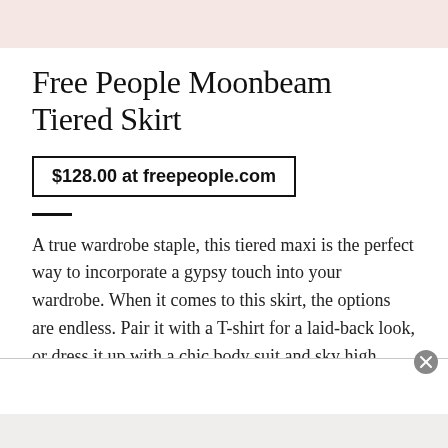[Figure (photo): Top portion of a product image, light pinkish-beige background, partially visible]
Free People Moonbeam Tiered Skirt
$128.00 at freepeople.com
A true wardrobe staple, this tiered maxi is the perfect way to incorporate a gypsy touch into your wardrobe. When it comes to this skirt, the options are endless. Pair it with a T-shirt for a laid-back look, or dress it up with a chic body suit and sky high strappy sandals. The metallic sheen is just luxe enough to make sure your look isn't too retro.